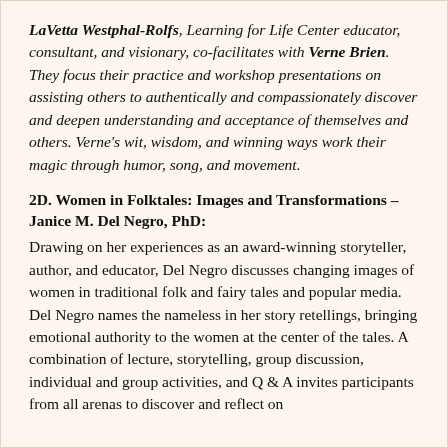LaVetta Westphal-Rolfs, Learning for Life Center educator, consultant, and visionary, co-facilitates with Verne Brien. They focus their practice and workshop presentations on assisting others to authentically and compassionately discover and deepen understanding and acceptance of themselves and others. Verne's wit, wisdom, and winning ways work their magic through humor, song, and movement.
2D. Women in Folktales: Images and Transformations – Janice M. Del Negro, PhD:
Drawing on her experiences as an award-winning storyteller, author, and educator, Del Negro discusses changing images of women in traditional folk and fairy tales and popular media. Del Negro names the nameless in her story retellings, bringing emotional authority to the women at the center of the tales. A combination of lecture, storytelling, group discussion, individual and group activities, and Q & A invites participants from all arenas to discover and reflect on the…